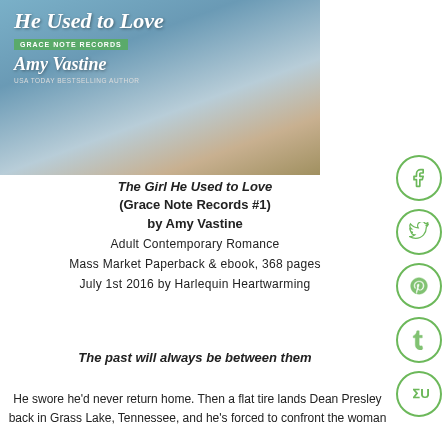[Figure (illustration): Book cover of 'The Girl He Used to Love' by Amy Vastine, showing a person in a light blue shirt in a field, with a green 'Grace Note Records' badge and the author name in italic script. USA Today Bestselling Author noted below.]
The Girl He Used to Love
(Grace Note Records #1)
by Amy Vastine
Adult Contemporary Romance
Mass Market Paperback & ebook, 368 pages
July 1st 2016 by Harlequin Heartwarming
The past will always be between them
He swore he'd never return home. Then a flat tire lands Dean Presley back in Grass Lake, Tennessee, and he's forced to confront the woman